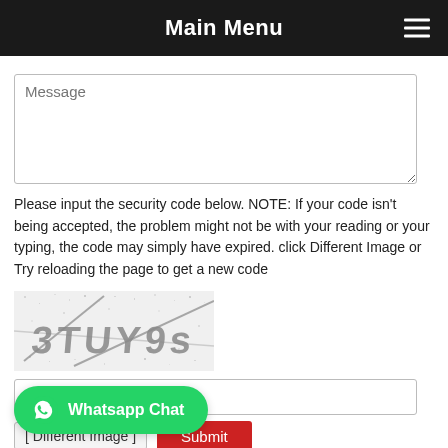Main Menu
Message
Please input the security code below. NOTE: If your code isn't being accepted, the problem might not be with your reading or your typing, the code may simply have expired. click Different Image or Try reloading the page to get a new code
[Figure (other): CAPTCHA image showing distorted text '3TUY9s' with noise and strike-through lines on a white/grey speckled background]
[ Different Image ]   Submit
Whatsapp Chat